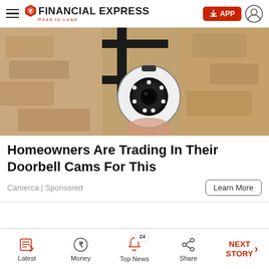FINANCIAL EXPRESS — Read to Lead
[Figure (photo): Close-up photo of a white outdoor security camera mounted on a metal bracket against a textured stone/concrete wall]
Homeowners Are Trading In Their Doorbell Cams For This
Camerca | Sponsored
Latest | Money | Top News (24) | Share | NEXT STORY